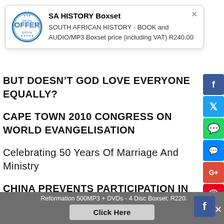[Figure (other): Popup card with OFFER badge showing SA HISTORY Boxset product offer]
SA HISTORY Boxset
SOUTH AFRICAN HISTORY - BOOK and AUDIO/MP3 Boxset price (including VAT) R240.00
BUT DOESN’T GOD LOVE EVERYONE EQUALLY?
CAPE TOWN 2010 CONGRESS ON WORLD EVANGELISATION
Celebrating 50 Years Of Marriage And Ministry
CHINA PREVENTS PARTICIPATION IN MISSIONS CONGRESS
CHRISTIANS MUST CARE FOR GOD’S CREATION
Reformation 500MP3 + DVDs - 4 Disc Boxset: R220.  Click Here